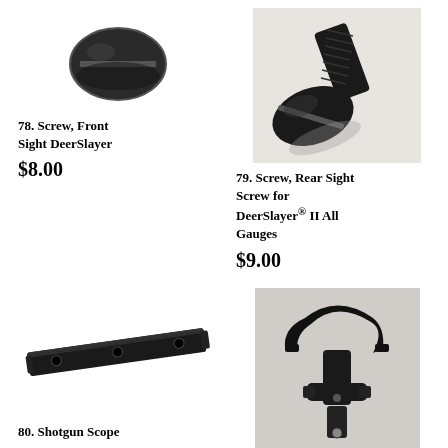[Figure (photo): Small flat-head screw, front sight screw for DeerSlayer, black finish, viewed from top-front angle]
78. Screw, Front Sight DeerSlayer
$8.00
[Figure (photo): Large slotted machine screw with threaded shaft, black finish, viewed at angle showing full length]
79. Screw, Rear Sight Screw for DeerSlayer® II All Gauges
$9.00
[Figure (photo): Flat black metal rail/strip with three holes, Shotgun Scope Mount rail]
80. Shotgun Scope
[Figure (photo): Black metal sling adapter with clamp/fork mechanism and mounting hardware]
Adapter, Sling